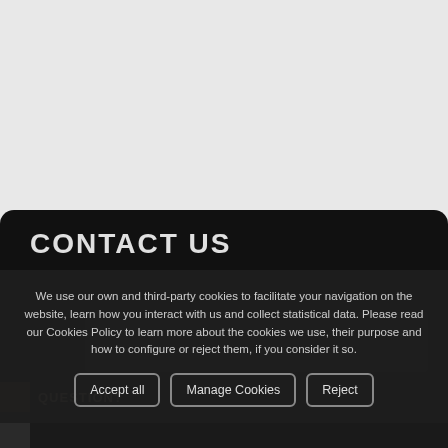[Figure (screenshot): Gray background area representing top portion of a webpage]
CONTACT US
We use our own and third-party cookies to facilitate your navigation on the website, learn how you interact with us and collect statistical data. Please read our Cookies Policy to learn more about the cookies we use, their purpose and how to configure or reject them, if you consider it so.
Accept all   Manage Cookies   Reject
QUESTION?